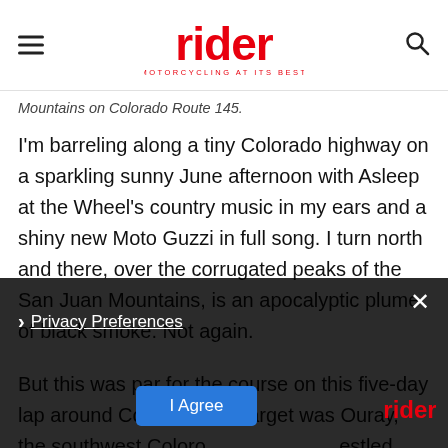rider — MOTORCYCLING AT ITS BEST
Mountains on Colorado Route 145.
I'm barreling along a tiny Colorado highway on a sparkling sunny June afternoon with Asleep at the Wheel's country music in my ears and a shiny new Moto Guzzi in full song. I turn north and there, over the corrugated peaks of the San Juan Mountains, is an apocalyptic plume of black smoke. Not again.

But this was par for the course on this five-day lap around Colorado. My target was Ouray, the southwest Colorado nestled deep between craggy canyons. I had intended to escape Denver heading southwest straight int...
Privacy Preferences | I Agree